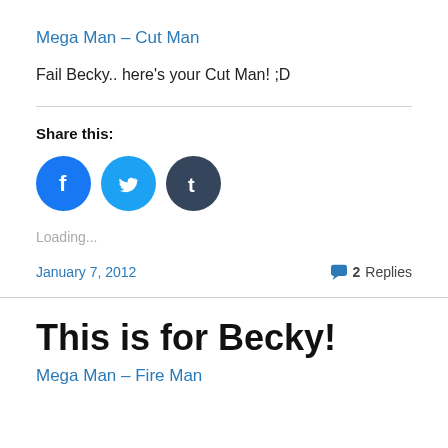Mega Man – Cut Man
Fail Becky.. here's your Cut Man! ;D
Share this:
[Figure (other): Three social sharing buttons: Facebook (blue circle with f), Twitter (blue circle with bird), Tumblr (dark circle with t)]
Loading...
January 7, 2012    2 Replies
This is for Becky!
Mega Man – Fire Man